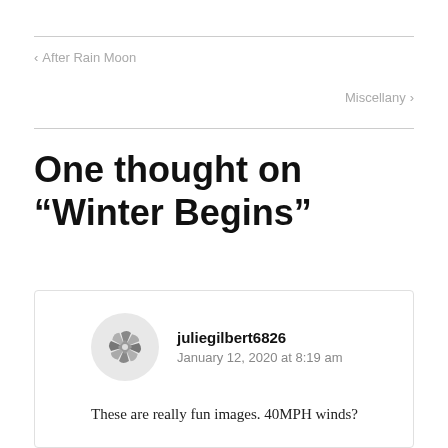< After Rain Moon
Miscellany >
One thought on “Winter Begins”
juliegilbert6826
January 12, 2020 at 8:19 am
These are really fun images. 40MPH winds?